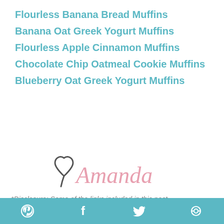Flourless Banana Bread Muffins
Banana Oat Greek Yogurt Muffins
Flourless Apple Cinnamon Muffins
Chocolate Chip Oatmeal Cookie Muffins
Blueberry Oat Greek Yogurt Muffins
[Figure (illustration): Heart icon with cursive signature 'Amanda' in pink]
*Disclosure: Some of the links included in this post may be affiliate links, meaning I'll earn a small commission if you purchase through them, at no
Pinterest, Facebook, Twitter, share icons